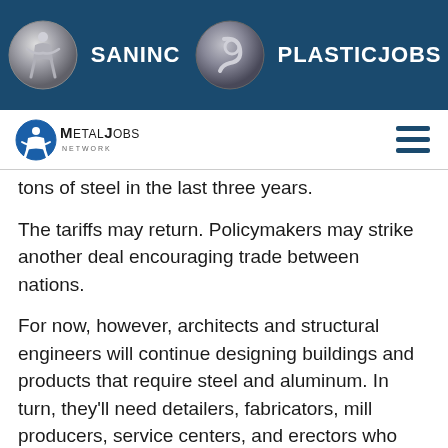[Figure (logo): Top dark blue banner with two logos: SANINC (silver circular logo with figure) and PLASTICJOBS (grey circular logo with swirl)]
[Figure (logo): MetalJobs Network logo on white navigation bar with hamburger menu icon on right]
tons of steel in the last three years.
The tariffs may return. Policymakers may strike another deal encouraging trade between nations.
For now, however, architects and structural engineers will continue designing buildings and products that require steel and aluminum. In turn, they'll need detailers, fabricators, mill producers, service centers, and erectors who can make their designs a reality.